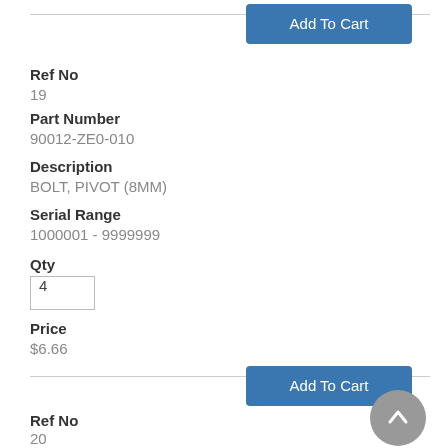[Figure (other): Add To Cart button at top]
Ref No
19
Part Number
90012-ZE0-010
Description
BOLT, PIVOT (8MM)
Serial Range
1000001 - 9999999
Qty
4
Price
$6.66
[Figure (other): Add To Cart button at bottom]
Ref No
20
Part Number
[Figure (other): Back to top circular button]